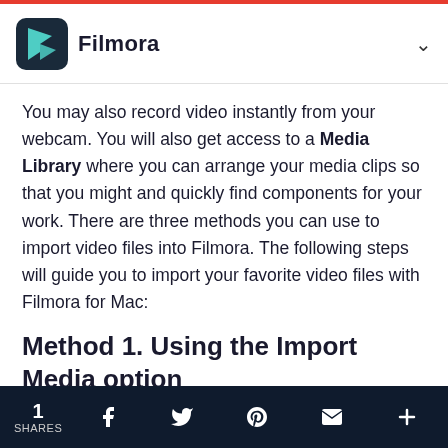Filmora
You may also record video instantly from your webcam. You will also get access to a Media Library where you can arrange your media clips so that you might and quickly find components for your work. There are three methods you can use to import video files into Filmora. The following steps will guide you to import your favorite video files with Filmora for Mac:
Method 1. Using the Import Media option
Step 1: Import File
First and foremost, click on the File option to import
1 SHARES